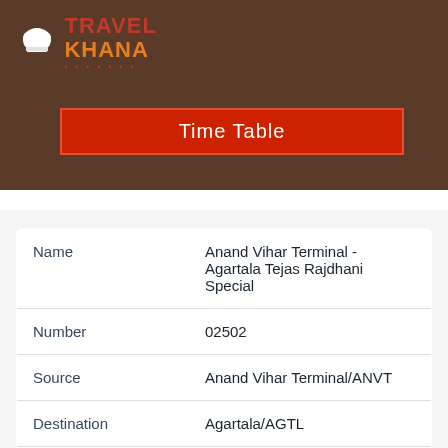[Figure (logo): Travel Khana logo with chef hat icon, red and orange text]
Time Table
| Field | Value |
| --- | --- |
| Name | Anand Vihar Terminal - Agartala Tejas Rajdhani Special |
| Number | 02502 |
| Source | Anand Vihar Terminal/ANVT |
| Destination | Agartala/AGTL |
| Train Avg. speed | 59km/hr |
| Journey Distance | 2424km |